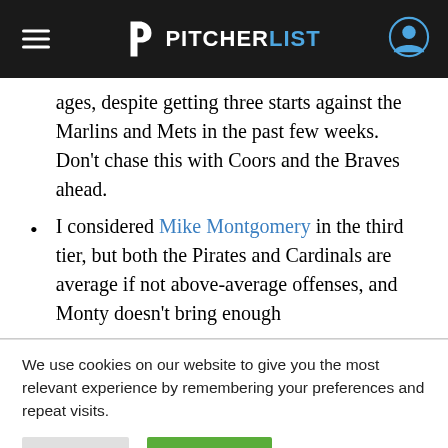PITCHERLIST
ages, despite getting three starts against the Marlins and Mets in the past few weeks. Don’t chase this with Coors and the Braves ahead.
I considered Mike Montgomery in the third tier, but both the Pirates and Cardinals are average if not above-average offenses, and Monty doesn’t bring enough
We use cookies on our website to give you the most relevant experience by remembering your preferences and repeat visits.